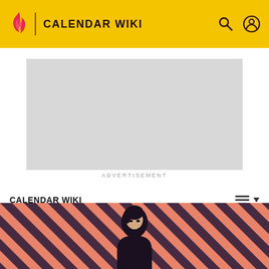CALENDAR WIKI
[Figure (screenshot): Advertisement placeholder - grey rectangle]
ADVERTISEMENT
CALENDAR WIKI
ISO 8601
EDIT
[Figure (photo): Person with dark hair against diagonal coral/salmon and dark navy striped background]